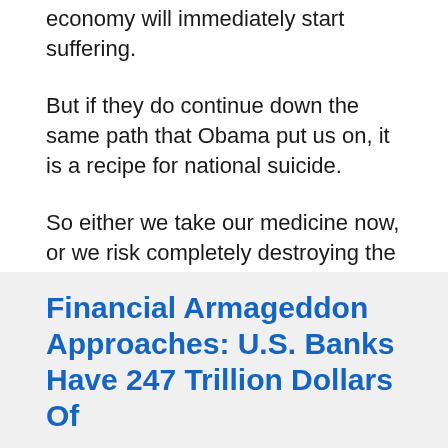economy will immediately start suffering.
But if they do continue down the same path that Obama put us on, it is a recipe for national suicide.
So either we take our medicine now, or we risk completely destroying the bright future that our children and grandchildren were supposed to enjoy.
Wake up America, because time is running out.
Financial Armageddon Approaches: U.S. Banks Have 247 Trillion Dollars Of